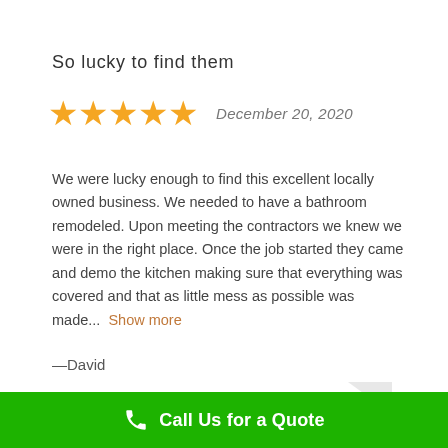So lucky to find them
★★★★★  December 20, 2020
We were lucky enough to find this excellent locally owned business. We needed to have a bathroom remodeled. Upon meeting the contractors we knew we were in the right place. Once the job started they came and demo the kitchen making sure that everything was covered and that as little mess as possible was made...  Show more
—David
Response from Manuka Kitchen
Thank you David, we look forward to working with
Call Us for a Quote